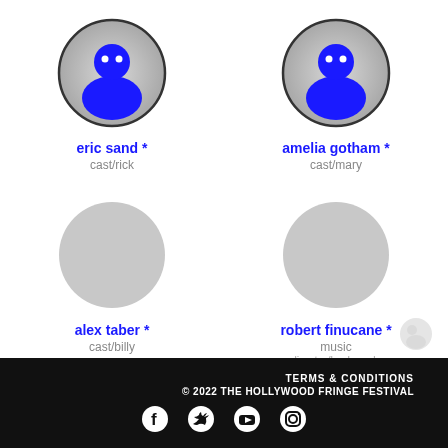[Figure (illustration): Profile avatar icon for eric sand - blue person icon on grey circular background]
eric sand *
cast/rick
[Figure (illustration): Profile avatar icon for amelia gotham - blue person icon on grey circular background]
amelia gotham *
cast/mary
[Figure (illustration): Grey circular placeholder avatar for alex taber]
alex taber *
cast/billy
[Figure (illustration): Grey circular placeholder avatar for robert finucane]
robert finucane *
music director/keyboards
TERMS & CONDITIONS © 2022 THE HOLLYWOOD FRINGE FESTIVAL